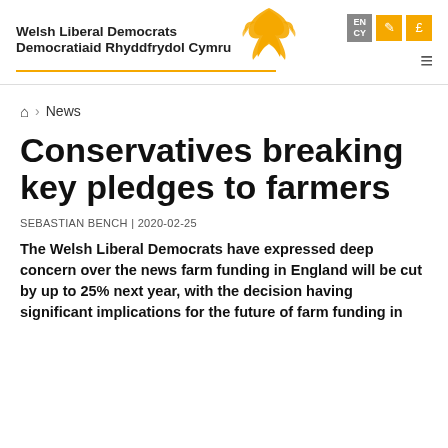[Figure (logo): Welsh Liberal Democrats / Democratiaid Rhyddfrydol Cymru logo with golden bird emblem]
EN CY [language toggle] [edit icon] [£ icon] [hamburger menu]
⌂ › News
Conservatives breaking key pledges to farmers
SEBASTIAN BENCH | 2020-02-25
The Welsh Liberal Democrats have expressed deep concern over the news farm funding in England will be cut by up to 25% next year, with the decision having significant implications for the future of farm funding in